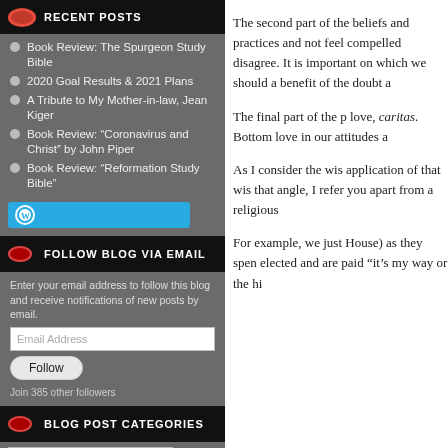RECENT POSTS
Book Review: The Spurgeon Study Bible
2020 Goal Results & 2021 Plans
A Tribute to My Mother-in-law, Jean Kiger
Book Review: “Coronavirus and Christ” by John Piper
Book Review: “Reformation Study Bible”
[Figure (logo): WordPress logo button in teal/blue]
FOLLOW BLOG VIA EMAIL
Enter your email address to follow this blog and receive notifications of new posts by email.
Email Address
Follow
Join 385 other followers
BLOG POST CATEGORIES
Select Category
The second part of the beliefs and practices and not feel compelled disagree. It is important on which we should a benefit of the doubt a
The final part of the p love, caritas. Bottom love in our attitudes a
As I consider the wis application of that wis that angle, I refer you apart from a religious
For example, we just House) as they spen elected and are paid “it’s my way or the hi